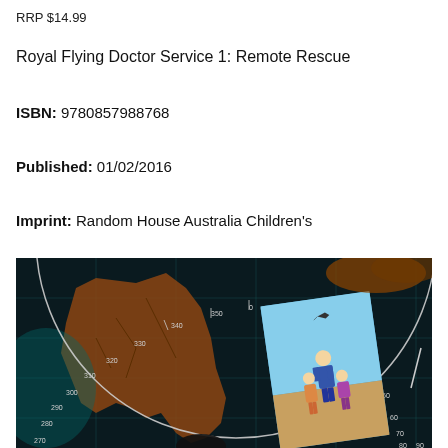RRP $14.99
Royal Flying Doctor Service 1: Remote Rescue
ISBN: 9780857988768
Published: 01/02/2016
Imprint: Random House Australia Children's
[Figure (illustration): Book cover illustration for Royal Flying Doctor Service 1: Remote Rescue. Shows a radar/compass dial overlay on a dark background with a map of Australia. Inside the dial is an illustration of three children with a plane flying overhead, set against an outback landscape with red rock formations.]